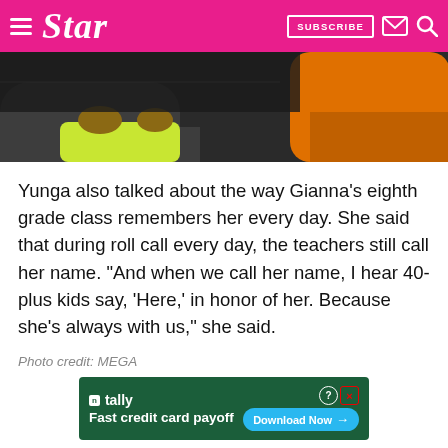Star — SUBSCRIBE
[Figure (photo): Partial photo showing people seated, one wearing yellow/lime shorts and another in an orange top, dark background]
Yunga also talked about the way Gianna's eighth grade class remembers her every day. She said that during roll call every day, the teachers still call her name. “And when we call her name, I hear 40-plus kids say, ‘Here,’ in honor of her. Because she’s always with us,” she said.
Photo credit: MEGA
[Figure (screenshot): Advertisement banner for Tally app: 'Fast credit card payoff' with a Download Now button]